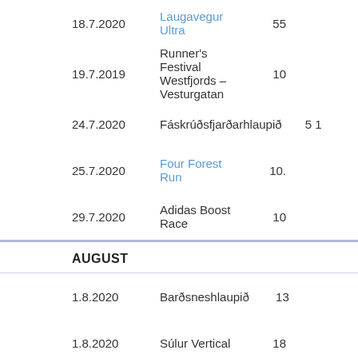18.7.2020 Laugavegur Ultra 55
19.7.2019 Runner's Festival Westfjords – Vesturgatan 10
24.7.2020 Fáskrúðsfjarðarhlaupið 5 1
25.7.2020 Four Forest Run 10.
29.7.2020 Adidas Boost Race 10
AUGUST
1.8.2020 Barðsneshlaupið 13
1.8.2020 Súlur Vertical 18
6.8.2020 Vatnsmýrarhlaup 5
8.8.2020 Brúarhlaup 5 1
8.8.2020 Dettifoss Trail Run 13.